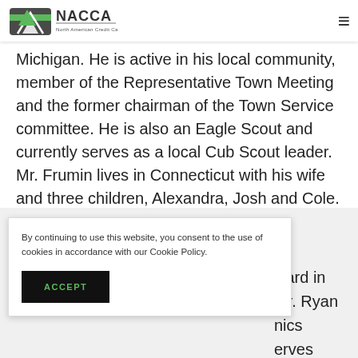[Figure (logo): NACCA - North American Credit Card Association logo with green card icon and text]
Michigan. He is active in his local community, member of the Representative Town Meeting and the former chairman of the Town Service committee. He is also an Eagle Scout and currently serves as a local Cub Scout leader. Mr. Frumin lives in Connecticut with his wife and three children, Alexandra, Josh and Cole.
By continuing to use this website, you consent to the use of cookies in accordance with our Cookie Policy.
ACCEPT
Card in Mr. Ryan nics erves